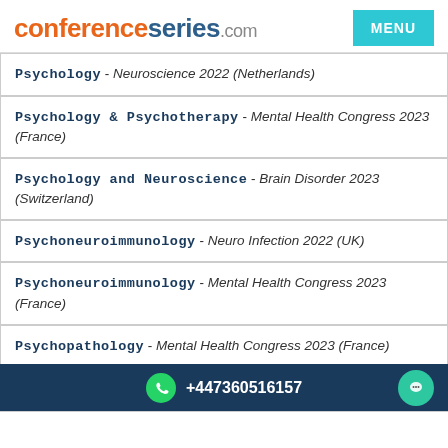conferenceseries.com
Psychology - Neuroscience 2022 (Netherlands)
Psychology & Psychotherapy - Mental Health Congress 2023 (France)
Psychology and Neuroscience - Brain Disorder 2023 (Switzerland)
Psychoneuroimmunology - Neuro Infection 2022 (UK)
Psychoneuroimmunology - Mental Health Congress 2023 (France)
Psychopathology - Mental Health Congress 2023 (France)
Psychopathology - Neuro Infection 2022 (UK)
+447360516157